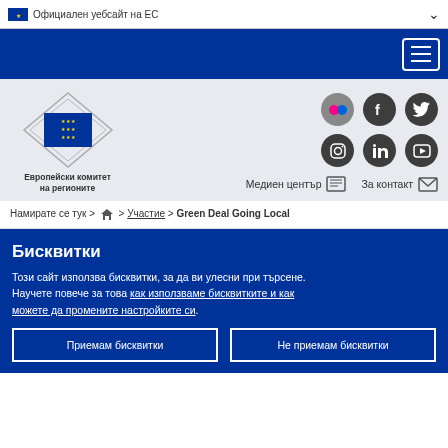Официален уебсайт на ЕС
[Figure (logo): EU Committee of the Regions logo with EU flag and diamond shape, text: Европейски комитет на регионите]
[Figure (infographic): Social media icons: Flickr, Facebook, Twitter, Instagram, LinkedIn, YouTube in dark circles]
Медиен център  За контакт
Намирате се тук > 🏠 > Участие > Green Deal Going Local
Бисквитки
Този сайт използва бисквитки, за да ви улесни при търсене. Научете повече за това как използваме бисквитките и как можете да промените настройките си.
Приемам бисквитки
Не приемам бисквитки